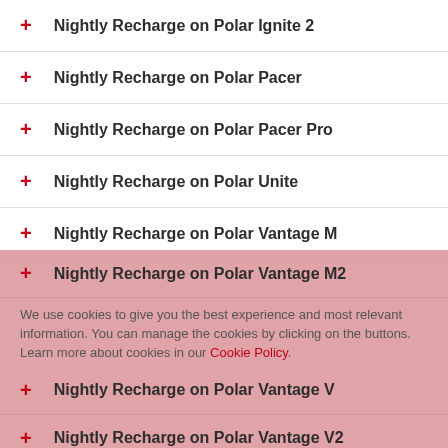Nightly Recharge on Polar Ignite 2
Nightly Recharge on Polar Pacer
Nightly Recharge on Polar Pacer Pro
Nightly Recharge on Polar Unite
Nightly Recharge on Polar Vantage M
Nightly Recharge on Polar Vantage M2
Nightly Recharge on Polar Vantage V
Nightly Recharge on Polar Vantage V2
We use cookies to give you the best experience and most relevant information. You can manage the cookies by clicking on the buttons. Learn more about cookies in our Cookie Policy.
Decline | Allow cookies
Further reading:
https://www.polar.com/en/smart-coaching